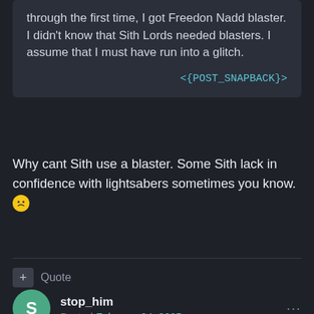through the first time, I got Freedon Nadd blaster. I didn't know that Sith Lords needed blasters.  I assume that I must have run into a glitch.
<{POST_SNAPBACK}>
Why cant Sith use a blaster. Some Sith lack in confidence with lightsabers sometimes you know. 😠
+ Quote
stop_him
Posted February 24, 2005